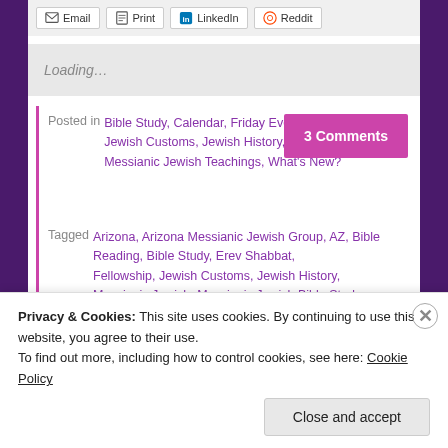[Figure (screenshot): Share buttons row: Email, Print, LinkedIn, Reddit]
Loading...
Posted in Bible Study, Calendar, Friday Evening Shabbat, Jewish Customs, Jewish History, Location Information, Messianic Jewish Teachings, What's New?
3 Comments
Tagged Arizona, Arizona Messianic Jewish Group, AZ, Bible Reading, Bible Study, Erev Shabbat, Fellowship, Jewish Customs, Jewish History, Messianic Jewish, Messianic Jewish Bible Study, messianic jewish group, Messianic Jewish Group
Privacy & Cookies: This site uses cookies. By continuing to use this website, you agree to their use.
To find out more, including how to control cookies, see here: Cookie Policy
Close and accept